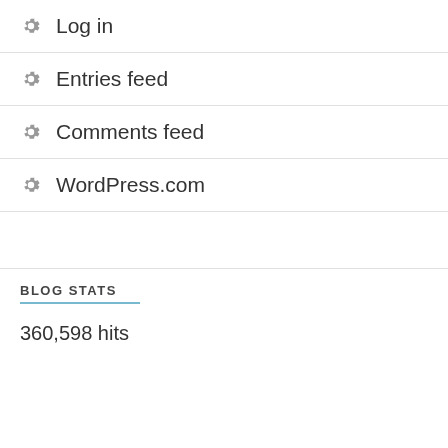Log in
Entries feed
Comments feed
WordPress.com
BLOG STATS
360,598 hits